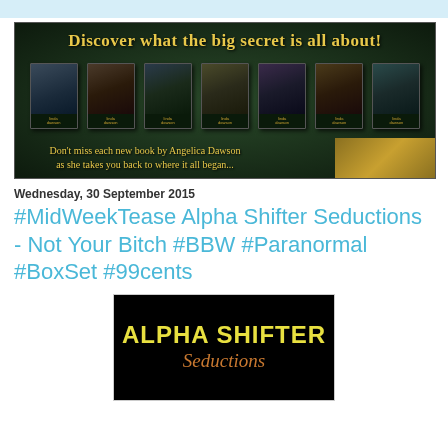[Figure (illustration): Book series advertisement banner with dark green background, showing 7 book covers in a row. Text reads 'Discover what the big secret is all about!' and 'Don't miss each new book by Angelica Dawson as she takes you back to where it all began...' in gold/yellow serif font.]
Wednesday, 30 September 2015
#MidWeekTease Alpha Shifter Seductions - Not Your Bitch #BBW #Paranormal #BoxSet #99cents
[Figure (illustration): Black background image with 'ALPHA SHIFTER' in bold yellow text and 'Seductions' in italic orange/copper cursive text below it.]